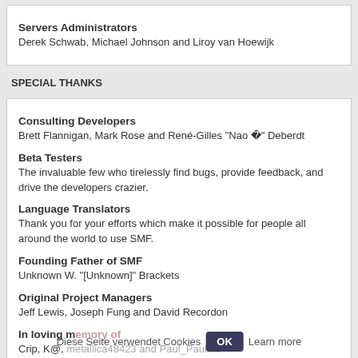Servers Administrators
Derek Schwab, Michael Johnson and Liroy van Hoewijk
SPECIAL THANKS
Consulting Developers
Brett Flannigan, Mark Rose and René-Gilles "Nao  " Deberdt
Beta Testers
The invaluable few who tirelessly find bugs, provide feedback, and drive the developers crazier.
Language Translators
Thank you for your efforts which make it possible for people all around the world to use SMF.
Founding Father of SMF
Unknown W. "[Unknown]" Brackets
Original Project Managers
Jeff Lewis, Joseph Fung and David Recordon
In loving memory of
Crip, K@, metallica48423 and Paul_Pauline
And for anyone we may have missed, thank you!